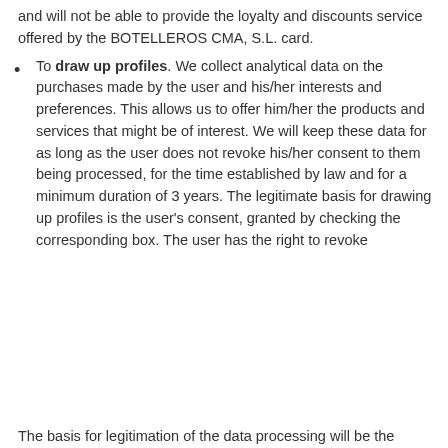and will not be able to provide the loyalty and discounts service offered by the BOTELLEROS CMA, S.L. card.
To draw up profiles. We collect analytical data on the purchases made by the user and his/her interests and preferences. This allows us to offer him/her the products and services that might be of interest. We will keep these data for as long as the user does not revoke his/her consent to them being processed, for the time established by law and for a minimum duration of 3 years. The legitimate basis for drawing up profiles is the user's consent, granted by checking the corresponding box. The user has the right to revoke
We use our own and third-party cookies to improve our services and show you advertising related to your preferences by analysing your browsing habits. By clicking" we accept" consider this to mean that you accept their use. You may obtain more information in our "Cookies Policy".
I accept
The basis for legitimation of the data processing will be the